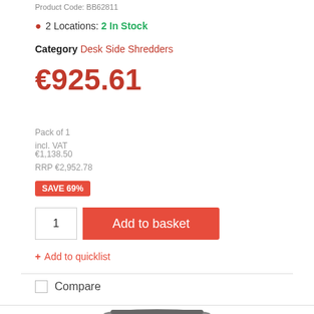Product Code: BB62811
2 Locations: 2 In Stock
Category Desk Side Shredders
€925.61
Pack of 1
incl. VAT
€1,138.50
RRP €2,952.78
SAVE 69%
1
Add to basket
+ Add to quicklist
Compare
[Figure (photo): Desk side paper shredder product photo, partially visible at the bottom of the page]